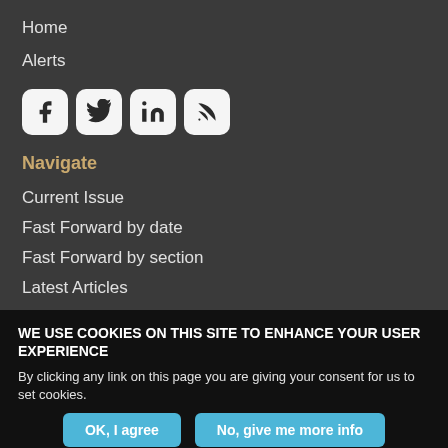Home
Alerts
[Figure (other): Social media icons: Facebook, Twitter, LinkedIn, RSS feed]
Navigate
Current Issue
Fast Forward by date
Fast Forward by section
Latest Articles
Archive
WE USE COOKIES ON THIS SITE TO ENHANCE YOUR USER EXPERIENCE
By clicking any link on this page you are giving your consent for us to set cookies.
OK, I agree | No, give me more info